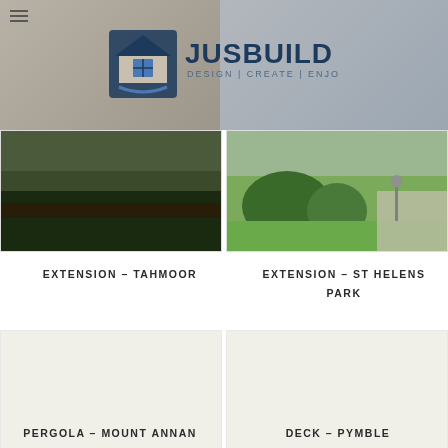[Figure (logo): Jusbuild logo with house icon and tagline DESIGN | CREATE | ENJOY, overlaid on background photos]
[Figure (photo): Outdoor lawn extension photo – Tahmoor, dark grass landscape]
[Figure (photo): Garden with bushes and path light – St Helens Park extension]
EXTENSION – TAHMOOR
EXTENSION – ST HELENS PARK
[Figure (photo): Pergola photo – Mount Annan (mostly white/empty in crop)]
[Figure (photo): Deck photo – Pymble (mostly white/empty in crop)]
PERGOLA – MOUNT ANNAN
DECK – PYMBLE